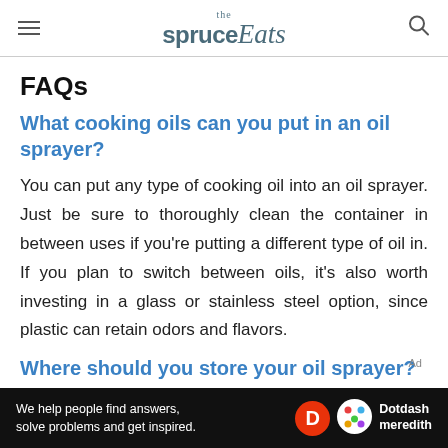the Spruce Eats
FAQs
What cooking oils can you put in an oil sprayer?
You can put any type of cooking oil into an oil sprayer. Just be sure to thoroughly clean the container in between uses if you're putting a different type of oil in. If you plan to switch between oils, it's also worth investing in a glass or stainless steel option, since plastic can retain odors and flavors.
Where should you store your oil sprayer?
[Figure (screenshot): Dotdash Meredith advertisement banner at bottom: 'We help people find answers, solve problems and get inspired.' with D logo and colorful dots logo]